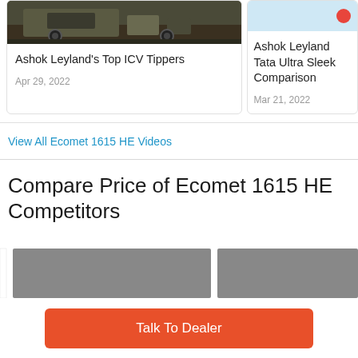[Figure (photo): Card with photo of a tipper truck on dirt ground, dark background]
Ashok Leyland's Top ICV Tippers
Apr 29, 2022
[Figure (photo): Card with light blue image and red circle dot icon, partially visible]
Ashok Leyland Tata Ultra Sleek Comparison
Mar 21, 2022
View All Ecomet 1615 HE Videos
Compare Price of Ecomet 1615 HE Competitors
[Figure (bar-chart): Partial bar chart showing two grey bars for competitor price comparison, cut off at bottom]
Talk To Dealer